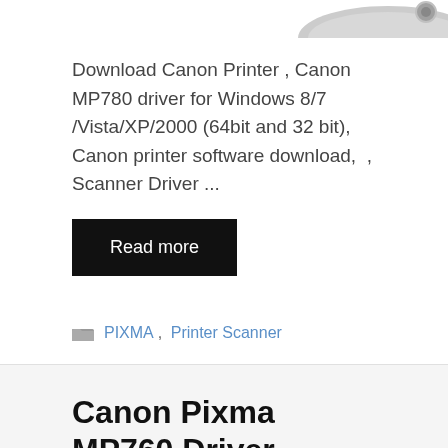[Figure (photo): Partial top view of a Canon printer, showing the top-right corner with a circular screw/lens element visible]
Download Canon Printer , Canon MP780 driver for Windows 8/7 /Vista/XP/2000 (64bit and 32 bit), Canon printer software download,  , Scanner Driver ...
Read more
PIXMA, Printer Scanner
Canon Pixma MP760 Driver